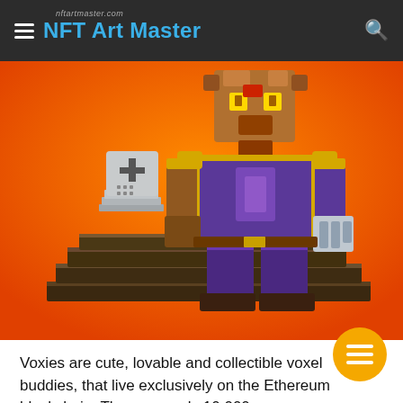NFT Art Master
[Figure (illustration): A 3D voxel character (Voxie) standing on a dark blocky platform with an orange background. The character has a bear-like brown head with glowing yellow eyes, wearing a purple and yellow armored outfit, holding items. A gray gravestone with a cross is next to it on the platform.]
Voxies are cute, lovable and collectible voxel buddies, that live exclusively on the Ethereum blockchain. There are only 10,000…